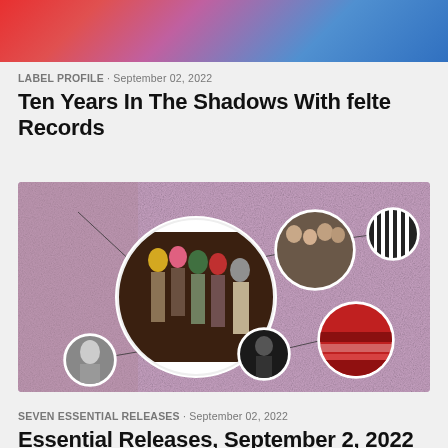[Figure (photo): Colorful abstract/portrait image at top of page with red, pink, purple, and blue tones]
LABEL PROFILE · September 02, 2022
Ten Years In The Shadows With felte Records
[Figure (illustration): Pink/purple textured background with circular album art images connected by lines - shows group of people with colored hoods, a band photo, a black and white striped image, a black and white portrait, and a red abstract image]
SEVEN ESSENTIAL RELEASES · September 02, 2022
Essential Releases, September 2, 2022